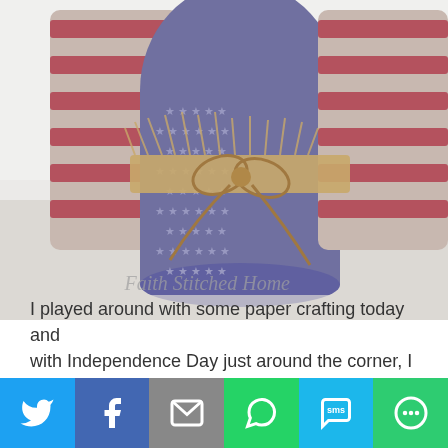[Figure (photo): Photo of patriotic American flag themed cylindrical containers/cans decorated with stars and stripes fabric, tied with burlap ribbon bow. Watermark reads 'Faith Stitched Home' in script font.]
I played around with some paper crafting today and with Independence Day just around the corner, I was
[Figure (infographic): Social media share bar with icons for Twitter (blue), Facebook (dark blue), Email (gray), WhatsApp (green), SMS (light blue), and More/share (green)]